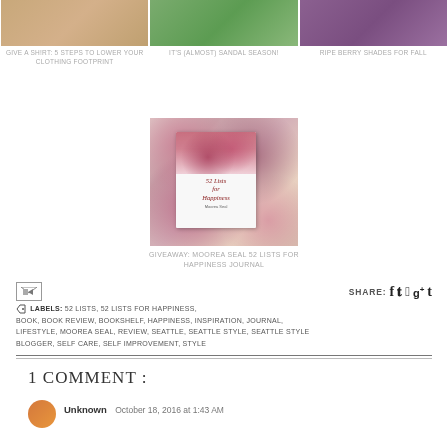[Figure (photo): Three top images: person in patterned clothing on stairs, flowers/garden scene, person in berry-colored top]
GIVE A SH!RT: 5 STEPS TO LOWER YOUR CLOTHING FOOTPRINT
IT'S (ALMOST) SANDAL SEASON!
RIPE BERRY SHADES FOR FALL
[Figure (photo): Book cover: 52 Lists for Happiness journal by Moorea Seal, surrounded by flowers on yellow background]
GIVEAWAY: MOOREA SEAL 52 LISTS FOR HAPPINESS JOURNAL
LABELS: 52 LISTS, 52 LISTS FOR HAPPINESS, BOOK, BOOK REVIEW, BOOKSHELF, HAPPINESS, INSPIRATION, JOURNAL, LIFESTYLE, MOOREA SEAL, REVIEW, SEATTLE, SEATTLE STYLE, SEATTLE STYLE BLOGGER, SELF CARE, SELF IMPROVEMENT, STYLE
SHARE: f t p g+ t
1 COMMENT :
Unknown  October 18, 2016 at 1:43 AM